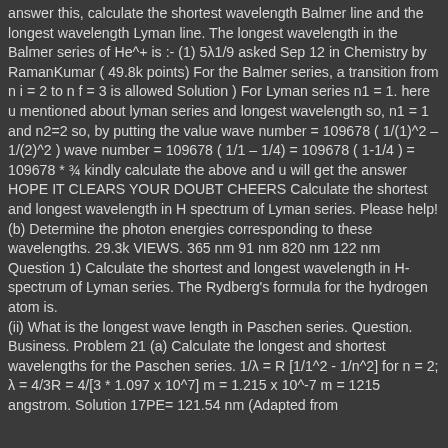answer this, calculate the shortest wavelength Balmer line and the longest wavelength Lyman line. The longest wavelength in the Balmer series of He^+ is :- (1) 5λ1/9 asked Sep 12 in Chemistry by RamanKumar ( 49.8k points) For the Balmer series, a transition from n i = 2 to n f = 3 is allowed Solution ) For Lyman series n1 = 1. here u mentioned about lyman series and longest wavelength so, n1 = 1 and n2=2 so, by putting the value wave number = 109678 ( 1/(1)^2 – 1/(2)^2 ) wave number = 109678 ( 1/1 – 1/4) = 109678 ( 1-1/4 ) = 109678 * ¾ kindly calculate the above and u will get the answer HOPE IT CLEARS YOUR DOUBT CHEERS Calculate the shortest and longest wavelength in H spectrum of Lyman series. Please help! (b) Determine the photon energies corresponding to these wavelengths. 29.3k VIEWS. 365 nm 91 nm 820 nm 122 nm Question 1) Calculate the shortest and longest wavelength in H- spectrum of Lyman series. The Rydberg's formula for the hydrogen atom is.
(ii) What is the longest wave length in Paschen series. Question. Business. Problem 21 (a) Calculate the longest and shortest wavelengths for the Paschen series. 1/λ = R [1/1^2 - 1/n^2] for n = 2; λ = 4/3R = 4/[3 * 1.097 x 10^7] m = 1.215 x 10^-7 m = 1215 angstrom. Solution 17PE= 121.54 nm (Adapted from